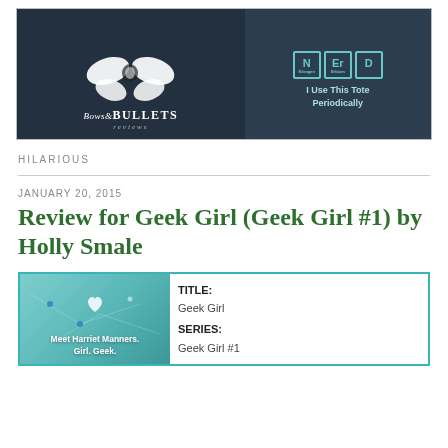[Figure (photo): Blog banner for 'Bows & Bullets Reviews' showing a bow and boots on the left, and a 'NERD' periodic table tote bag on the right with text 'I Use This Tote Periodically']
HILARIOUS
JANUARY 20, 2015
Review for Geek Girl (Geek Girl #1) by Holly Smale
[Figure (photo): Book cover for Geek Girl showing teal/aqua background with a heart, and text 'Meet Harriet Manners. Girl. Geek.']
| TITLE: | Geek Girl |
| SERIES: | Geek Girl #1 |